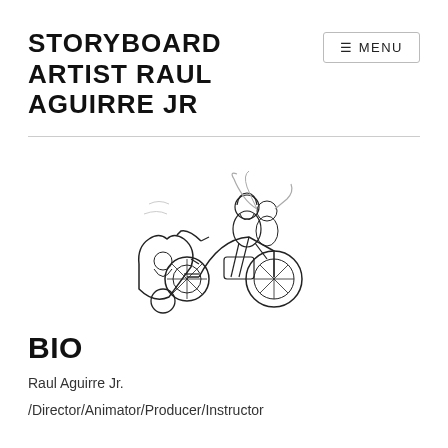STORYBOARD ARTIST RAUL AGUIRRE JR
[Figure (illustration): Black and white line drawing of a bearded man riding a motorcycle with a sidecar, a woman with long flowing hair sitting behind him, and another figure in the heart-shaped sidecar.]
BIO
Raul Aguirre Jr.
/Director/Animator/Producer/Instructor